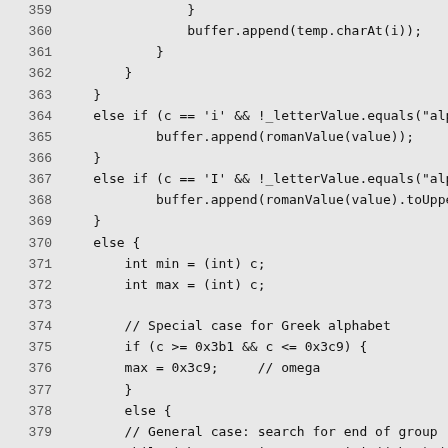[Figure (screenshot): Source code listing in Java showing lines 359-388 of a method dealing with character/alphabetic value formatting and Greek alphabet special-casing]